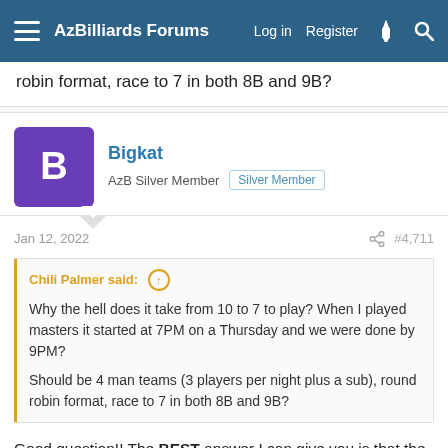AzBilliards Forums  Log in  Register
robin format, race to 7 in both 8B and 9B?
Bigkat
AzB Silver Member  Silver Member
Jan 12, 2022   #4,711
Chili Palmer said:  ↑

Why the hell does it take from 10 to 7 to play? When I played masters it started at 7PM on a Thursday and we were done by 9PM?

Should be 4 man teams (3 players per night plus a sub), round robin format, race to 7 in both 8B and 9B?
Good question!! The BEST answer I can give you is that the format down here is that Master's is only played ONCE PERMONTH. So, everything that would usually be done every week gets condensed into one day. So, last Saturday I played 3 different teams.